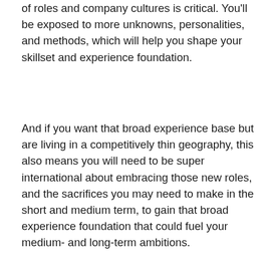of roles and company cultures is critical. You'll be exposed to more unknowns, personalities, and methods, which will help you shape your skillset and experience foundation.
And if you want that broad experience base but are living in a competitively thin geography, this also means you will need to be super international about embracing those new roles, and the sacrifices you may need to make in the short and medium term, to gain that broad experience foundation that could fuel your medium- and long-term ambitions.
It's that intentionality that is the important part. What do you aspire to do and become? It may be more important to you to push at the forefront of your discipline and be the agent of change in your role and industry. It may be more important that you live in an area you love, and that giving